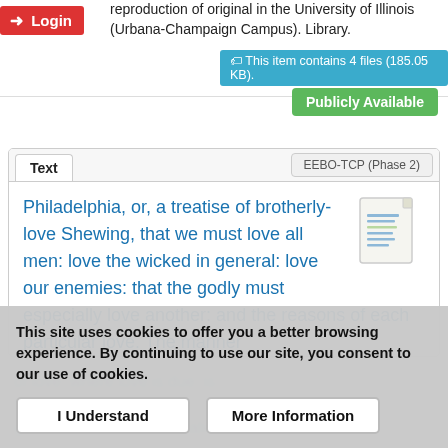reproduction of original in the University of Illinois (Urbana-Champaign Campus). Library.
This item contains 4 files (185.05 KB).
Publicly Available
Text
EEBO-TCP (Phase 2)
Philadelphia, or, a treatise of brotherly-love Shewing, that we must love all men: love the wicked in general: love our enemies: that the godly must especially love another: and the reasons of each particular love. The manner
This site uses cookies to offer you a better browsing experience. By continuing to use our site, you consent to our use of cookies.
I Understand
More Information